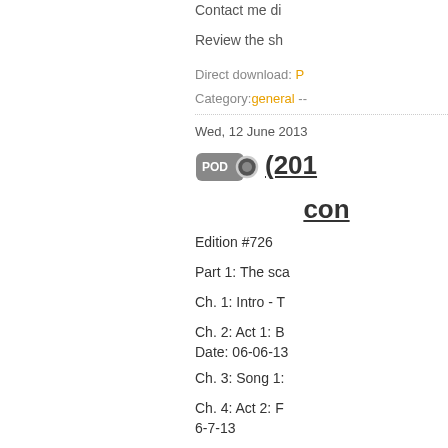Contact me di
Review the sh
Direct download: P
Category: general --
Wed, 12 June 2013
(201... con
Edition #726
Part 1: The sca
Ch. 1: Intro - T
Ch. 2: Act 1: B
Date: 06-06-13
Ch. 3: Song 1:
Ch. 4: Act 2: F
6-7-13